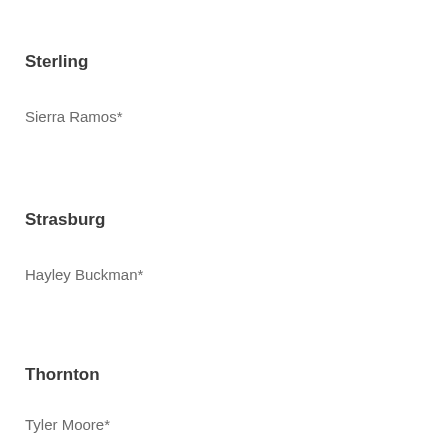Sterling
Sierra Ramos*
Strasburg
Hayley Buckman*
Thornton
Tyler Moore*
Ana Strong...